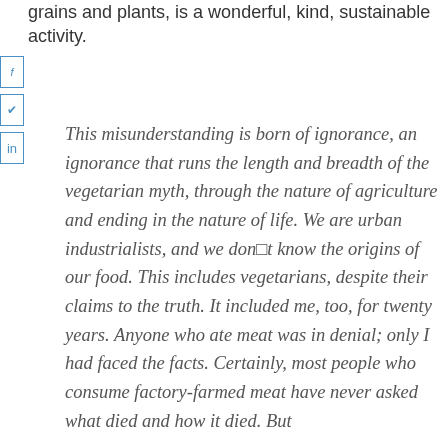grains and plants, is a wonderful, kind, sustainable activity.
This misunderstanding is born of ignorance, an ignorance that runs the length and breadth of the vegetarian myth, through the nature of agriculture and ending in the nature of life. We are urban industrialists, and we don't know the origins of our food. This includes vegetarians, despite their claims to the truth. It included me, too, for twenty years. Anyone who ate meat was in denial; only I had faced the facts. Certainly, most people who consume factory-farmed meat have never asked what died and how it died. But